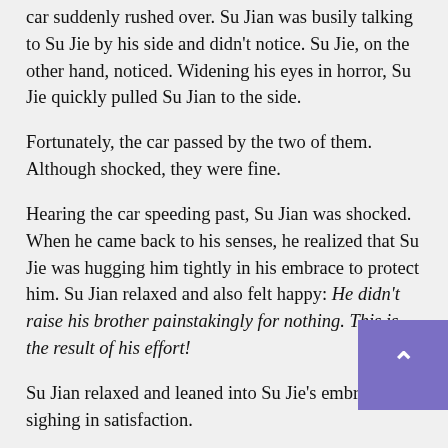car suddenly rushed over. Su Jian was busily talking to Su Jie by his side and didn't notice. Su Jie, on the other hand, noticed. Widening his eyes in horror, Su Jie quickly pulled Su Jian to the side.
Fortunately, the car passed by the two of them. Although shocked, they were fine.
Hearing the car speeding past, Su Jian was shocked. When he came back to his senses, he realized that Su Jie was hugging him tightly in his embrace to protect him. Su Jian relaxed and also felt happy: He didn't raise his brother painstakingly for nothing. This is the result of his effort!
Su Jian relaxed and leaned into Su Jie's embrace, sighing in satisfaction.
Su Jie lowered his eyes to look at the person he was hugging. He patted the person's back twice to calm down, but he felt perplexed.